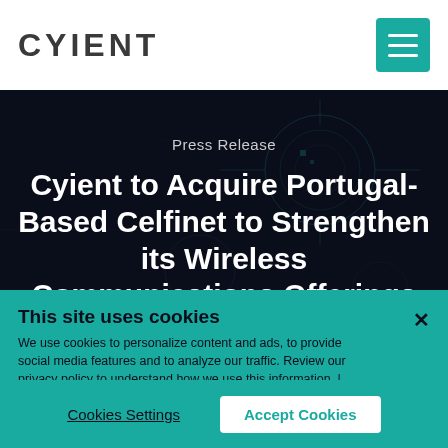CYIENT
Press Release
Cyient to Acquire Portugal-Based Celfinet to Strengthen its Wireless Communications Offerings
This site uses cookies
We use cookies to personalize content and ads, to provide social media features and to analyze our traffic. Review our privacy policy to understand how we use this information. | Privacy Policy
Cookies Settings
Accept Cookies